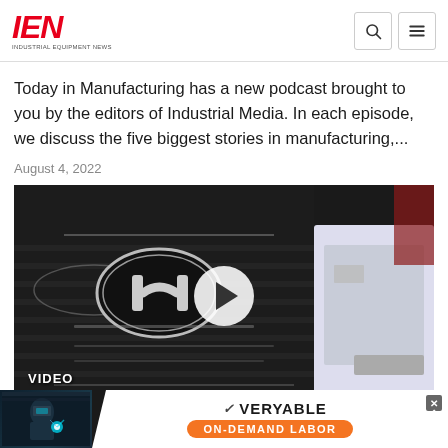IEN INDUSTRIAL EQUIPMENT NEWS
Today in Manufacturing has a new podcast brought to you by the editors of Industrial Media. In each episode, we discuss the five biggest stories in manufacturing,...
August 4, 2022
[Figure (photo): Close-up photo of a Hyundai car grille and emblem with a video play button overlay. A white car is visible in the background on the right.]
[Figure (infographic): Advertisement banner for Veryable showing a welder image on the left, the Veryable brand name with an orange 'ON-DEMAND LABOR' button, and a close button.]